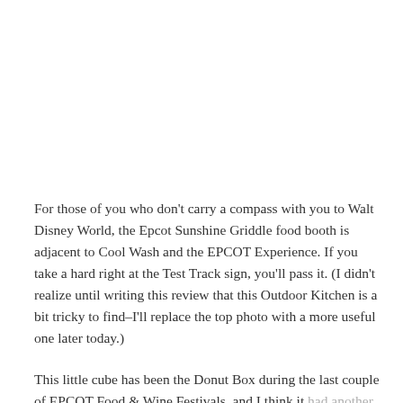For those of you who don't carry a compass with you to Walt Disney World, the Epcot Sunshine Griddle food booth is adjacent to Cool Wash and the EPCOT Experience. If you take a hard right at the Test Track sign, you'll pass it. (I didn't realize until writing this review that this Outdoor Kitchen is a bit tricky to find–I'll replace the top photo with a more useful one later today.)
This little cube has been the Donut Box during the last couple of EPCOT Food & Wine Festivals, and I think it had another name at some point, but I don't recall. Whatever the case, the EPCOT Sunshine Griddle is far